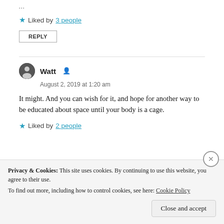Liked by 3 people
REPLY
Watt  August 2, 2019 at 1:20 am
It might. And you can wish for it, and hope for another way to be educated about space until your body is a cage.
Liked by 2 people
Privacy & Cookies: This site uses cookies. By continuing to use this website, you agree to their use. To find out more, including how to control cookies, see here: Cookie Policy
Close and accept